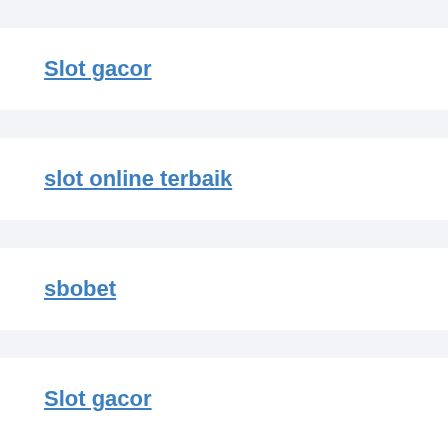Slot gacor
slot online terbaik
sbobet
Slot gacor